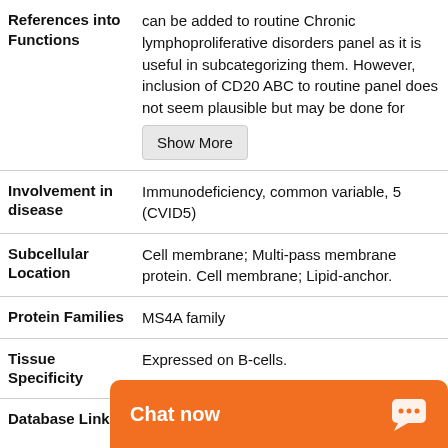| Field | Value |
| --- | --- |
| References into Functions | can be added to routine Chronic lymphoproliferative disorders panel as it is useful in subcategorizing them. However, inclusion of CD20 ABC to routine panel does not seem plausible but may be done for [Show More] |
| Involvement in disease | Immunodeficiency, common variable, 5 (CVID5) |
| Subcellular Location | Cell membrane; Multi-pass membrane protein. Cell membrane; Lipid-anchor. |
| Protein Families | MS4A family |
| Tissue Specificity | Expressed on B-cells. |
| Database Links | HGNC: 7315
OMIM: 112210
KEGG: [link]
STRING: [link] |
[Figure (screenshot): Chat now overlay button in orange at the bottom right of the page]